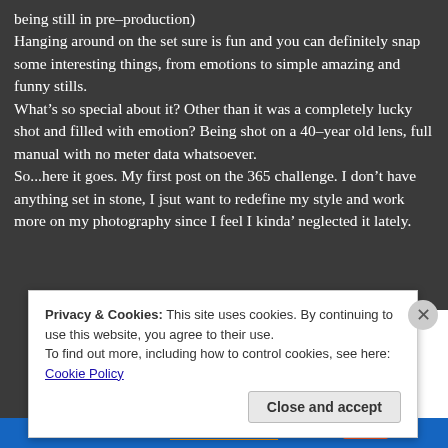being still in pre-production)
Hanging around on the set sure is fun and you can definitely snap some interesting things, from emotions to simple amazing and funny stills.
What's so special about it? Other than it was a completely lucky shot and filled with emotion? Being shot on a 40-year old lens, full manual with no meter data whatsoever.
So...here it goes. My first post on the 365 challenge. I don't have anything set in stone, I jsut want to redefine my style and work more on my photography since I feel I kinda' neglected it lately.
Privacy & Cookies: This site uses cookies. By continuing to use this website, you agree to their use.
To find out more, including how to control cookies, see here: Cookie Policy
Close and accept